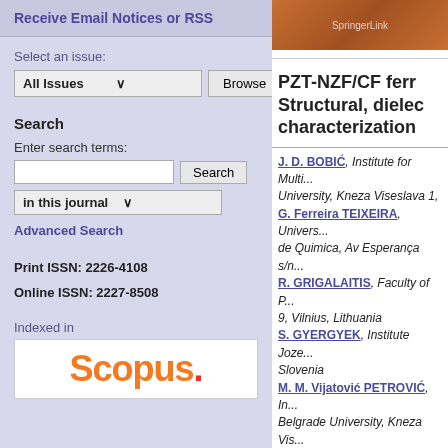Receive Email Notices or RSS
Select an issue:
All Issues
Browse
Search
Enter search terms:
Search
in this journal
Advanced Search
Print ISSN: 2226-4108
Online ISSN: 2227-8508
Indexed in
Scopus
[Figure (photo): Springer book/journal cover in orange/brown gradient]
PZT-NZF/CF ferr... Structural, dielec... characterization
J. D. BOBIĆ, Institute for Multi... University, Kneza Viseslava 1, ...
G. Ferreira TEIXEIRA, Univer... de Quimica, Av Esperança s/n...
R. GRIGALAITIS, Faculty of P... 9, Vilnius, Lithuania
S. GYERGYEK, Institute Joze... Slovenia
M. M. Vijatović PETROVIĆ, In... Belgrade University, Kneza Vis...
M. An. ZAGHETE, Instituto de...
Keywords
flexible thick films, three-phase-